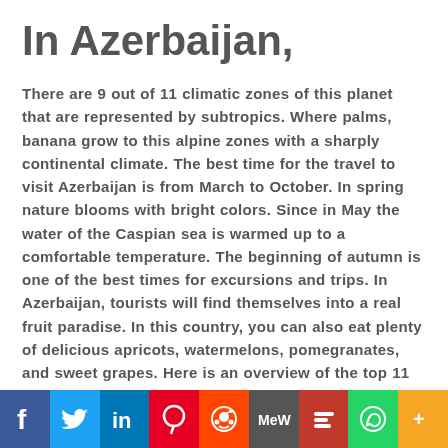In Azerbaijan,
There are 9 out of 11 climatic zones of this planet that are represented by subtropics. Where palms, banana grow to this alpine zones with a sharply continental climate. The best time for the travel to visit Azerbaijan is from March to October. In spring nature blooms with bright colors. Since in May the water of the Caspian sea is warmed up to a comfortable temperature. The beginning of autumn is one of the best times for excursions and trips. In Azerbaijan, tourists will find themselves into a real fruit paradise. In this country, you can also eat plenty of delicious apricots, watermelons, pomegranates, and sweet grapes. Here is an overview of the top 11 Tourist Attractions in Azerbaijan.
11. Caspian Sea Resorts
[Figure (infographic): Social media sharing bar with icons for Facebook, Twitter, LinkedIn, Pinterest, Reddit, MeWe, Mix, WhatsApp, and More]